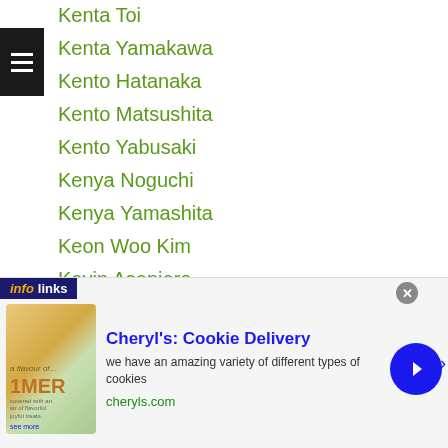Kenta Toi
Kenta Yamakawa
Kento Hatanaka
Kento Matsushita
Kento Yabusaki
Kenya Noguchi
Kenya Yamashita
Keon Woo Kim
Kevin Aseniero
Kevin Jake Cataraja
Kevin Mendoza
Khabar TV
Khabib-allakhverdiev
Khaokor Galaxy
Khaosai Galaxy
Khunkhiri-wor-wisaruth
...din Bulatov
[Figure (screenshot): Advertisement banner for Cheryl's Cookie Delivery with infolinks branding, showing cookie-themed image, title 'Cheryl's: Cookie Delivery', description text, and cheryls.com URL]